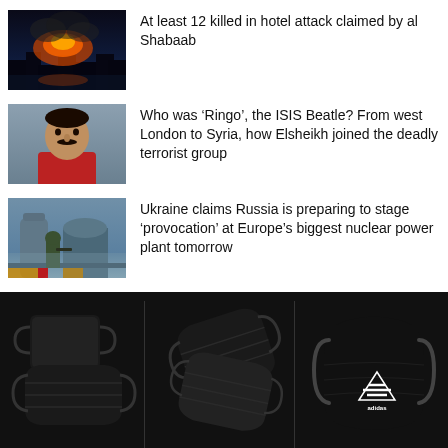[Figure (photo): News thumbnail: fire/explosion at night, dark scene with orange flames and smoke]
At least 12 killed in hotel attack claimed by al Shabaab
[Figure (photo): News thumbnail: man with mustache, light skin, wearing red clothing, close-up portrait]
Who was ‘Ringo’, the ISIS Beatle? From west London to Syria, how Elsheikh joined the deadly terrorist group
[Figure (photo): News thumbnail: soldier in military uniform standing near industrial structures, misty/foggy background, nuclear power plant]
Ukraine claims Russia is preparing to stage ‘provocation’ at Europe’s biggest nuclear power plant tomorrow
[Figure (photo): Advertisement image: black face masks product image on black background, three dark masks stacked]
[Figure (photo): Advertisement image: two black disposable face masks on black background]
[Figure (photo): Advertisement image: Adidas black face mask with white Adidas logo on black background]